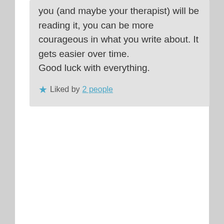you (and maybe your therapist) will be reading it, you can be more courageous in what you write about. It gets easier over time.
Good luck with everything.
★ Liked by 2 people
Advertisements
Build a writing habit. Post on the go.
[Figure (illustration): Cartoon illustration of a blue heart-shaped character with green plant/grass on top and stick legs, appearing slightly unhappy or neutral.]